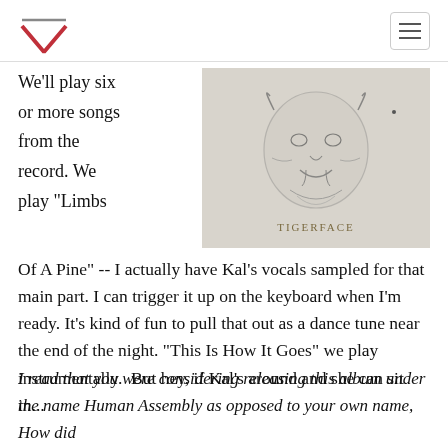[Figure (illustration): Black and white sketch/illustration of a tiger or dragon face with the text 'TIGERFACE' below it, on a grey textured background]
We'll play six or more songs from the record. We play "Limbs Of A Pine" -- I actually have Kal's vocals sampled for that main part. I can trigger it up on the keyboard when I'm ready. It's kind of fun to pull that out as a dance tune near the end of the night. "This Is How It Goes" we play instrumentally.  But hey, if Kal's around and she can sit in...
I read that you were considering releasing this album under the name Human Assembly as opposed to your own name,  How did